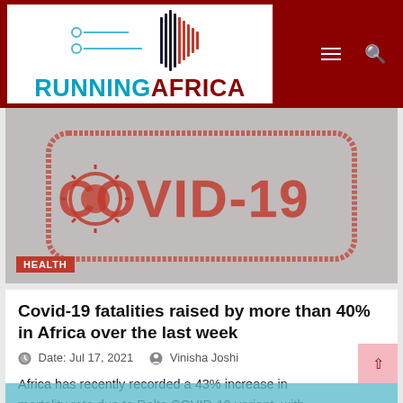RUNNINGAFRICA
[Figure (photo): COVID-19 stamp graphic with red distressed text 'COVID-19' on grey background, with a HEALTH category tag in the lower left corner.]
Covid-19 fatalities raised by more than 40% in Africa over the last week
Date: Jul 17, 2021   Vinisha Joshi
Africa has recently recorded a 43% increase in mortality rate due to Delta COVID-19 variant, with hospital admissions to have spiked rapidly and gover